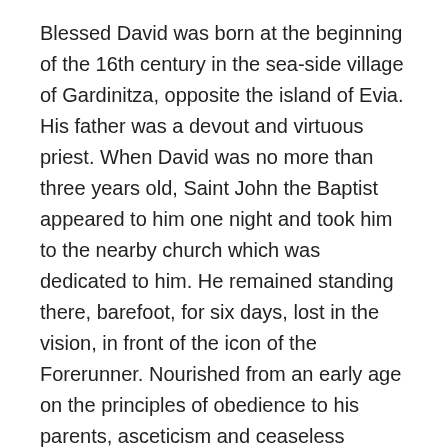Blessed David was born at the beginning of the 16th century in the sea-side village of Gardinitza, opposite the island of Evia. His father was a devout and virtuous priest. When David was no more than three years old, Saint John the Baptist appeared to him one night and took him to the nearby church which was dedicated to him. He remained standing there, barefoot, for six days, lost in the vision, in front of the icon of the Forerunner. Nourished from an early age on the principles of obedience to his parents, asceticism and ceaseless prayer, he left his family home at the age of fifteen, in search of a spiritual father. He found him in the person of the Hieromonk Akakios, who was well-known in the villages of the region for his virtuous life and powerful preaching.
David was tonsured a monk in Akakios' monastery, and there demonstrated perfect obedience, accompanied with